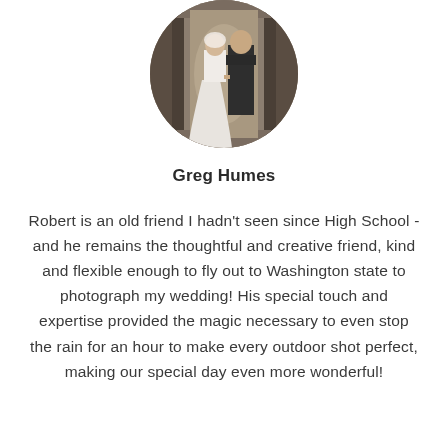[Figure (photo): Circular cropped wedding photo showing a couple, bride in white dress and groom in dark suit, standing in a corridor or hallway]
Greg Humes
Robert is an old friend I hadn't seen since High School - and he remains the thoughtful and creative friend, kind and flexible enough to fly out to Washington state to photograph my wedding! His special touch and expertise provided the magic necessary to even stop the rain for an hour to make every outdoor shot perfect, making our special day even more wonderful!